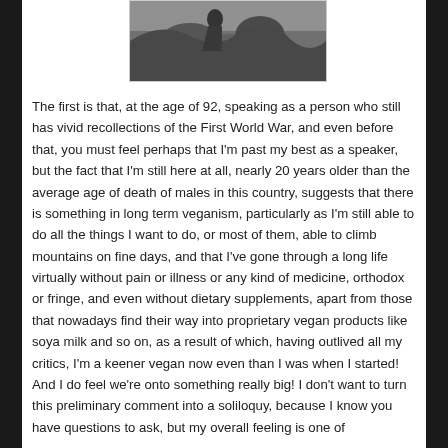[Figure (photo): Black and white photograph showing a person among rocks, partially cropped at top of page]
The first is that, at the age of 92, speaking as a person who still has vivid recollections of the First World War, and even before that, you must feel perhaps that I'm past my best as a speaker, but the fact that I'm still here at all, nearly 20 years older than the average age of death of males in this country, suggests that there is something in long term veganism, particularly as I'm still able to do all the things I want to do, or most of them, able to climb mountains on fine days, and that I've gone through a long life virtually without pain or illness or any kind of medicine, orthodox or fringe, and even without dietary supplements, apart from those that nowadays find their way into proprietary vegan products like soya milk and so on, as a result of which, having outlived all my critics, I'm a keener vegan now even than I was when I started! And I do feel we're onto something really big! I don't want to turn this preliminary comment into a soliloquy, because I know you have questions to ask, but my overall feeling is one of